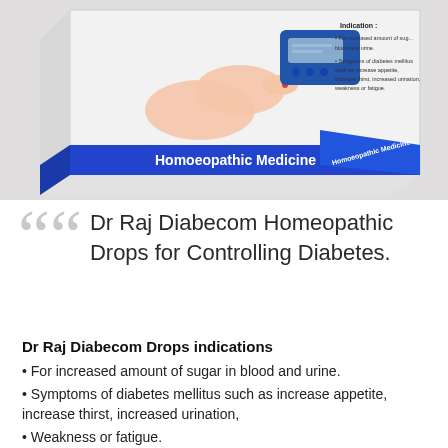[Figure (photo): Product photo showing a blue and white box labeled 'Homoeopathic Medicine' with an image of hands using a blood glucose meter. The box shows indication text about diabetes symptoms.]
Dr Raj Diabecom Homeopathic Drops for Controlling Diabetes.
Dr Raj Diabecom Drops indications
• For increased amount of sugar in blood and urine.
• Symptoms of diabetes mellitus such as increase appetite, increase thirst, increased urination,
• Weakness or fatigue.